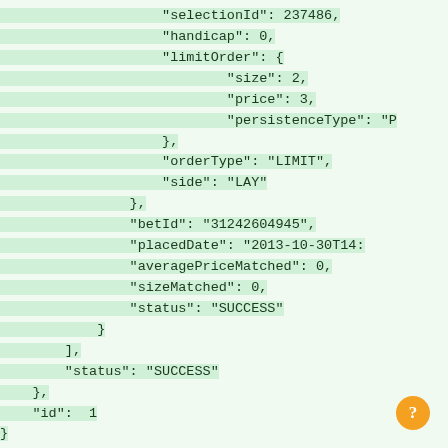JSON code block showing: "selectionId": 237486, "handicap": 0, "limitOrder": { "size": 2, "price": 3, "persistenceType": "P }, }, "orderType": "LIMIT", "side": "LAY" }, "betId": "31242604945", "placedDate": "2013-10-30T14: "averagePriceMatched": 0, "sizeMatched": 0, "status": "SUCCESS" } ], "status": "SUCCESS" }, "id":  1 } ]